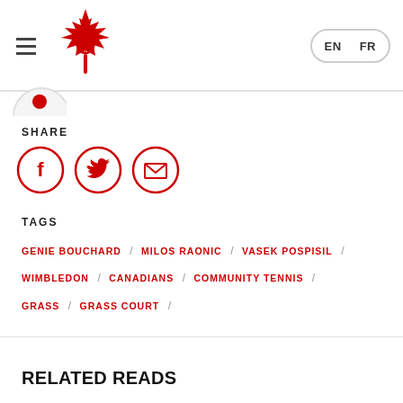Tennis Canada — EN / FR
SHARE
[Figure (other): Social share icons: Facebook, Twitter, Email — each in a red circle outline]
TAGS
GENIE BOUCHARD / MILOS RAONIC / VASEK POSPISIL / WIMBLEDON / CANADIANS / COMMUNITY TENNIS / GRASS / GRASS COURT /
RELATED READS